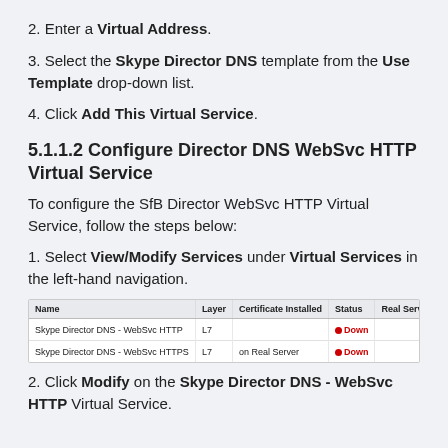2. Enter a Virtual Address.
3. Select the Skype Director DNS template from the Use Template drop-down list.
4. Click Add This Virtual Service.
5.1.1.2 Configure Director DNS WebSvc HTTP Virtual Service
To configure the SfB Director WebSvc HTTP Virtual Service, follow the steps below:
1. Select View/Modify Services under Virtual Services in the left-hand navigation.
| Name | Layer | Certificate Installed | Status | Real Servers | Operation |
| --- | --- | --- | --- | --- | --- |
| Skype Director DNS - WebSvc HTTP | L7 |  | Down |  | Modify | Delete |
| Skype Director DNS - WebSvc HTTPS | L7 | on Real Server | Down |  | Modify | Delete |
2. Click Modify on the Skype Director DNS - WebSvc HTTP Virtual Service.